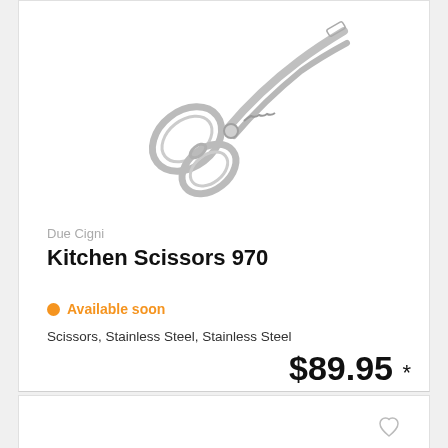[Figure (photo): Kitchen scissors / shears made of stainless steel, shown diagonally against a white background. The scissors have two looped handles and a serrated middle section.]
Due Cigni
Kitchen Scissors 970
Available soon
Scissors, Stainless Steel, Stainless Steel
$89.95 *